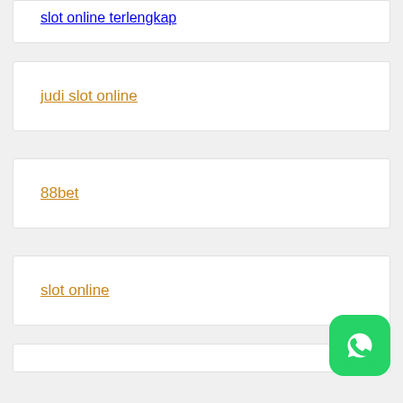slot online terlengkap
judi slot online
88bet
slot online
[Figure (logo): WhatsApp icon button, green rounded square with white speech bubble phone icon]